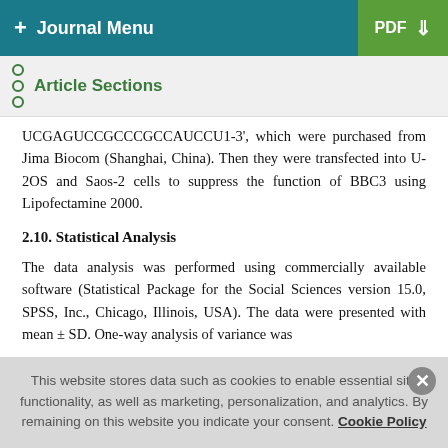+ Journal Menu   PDF ↓
Article Sections
UCGAGUCCGCCCGCCAUCCU1-3', which were purchased from Jima Biocom (Shanghai, China). Then they were transfected into U-2OS and Saos-2 cells to suppress the function of BBC3 using Lipofectamine 2000.
2.10. Statistical Analysis
The data analysis was performed using commercially available software (Statistical Package for the Social Sciences version 15.0, SPSS, Inc., Chicago, Illinois, USA). The data were presented with mean ± SD. One-way analysis of variance was
This website stores data such as cookies to enable essential site functionality, as well as marketing, personalization, and analytics. By remaining on this website you indicate your consent. Cookie Policy